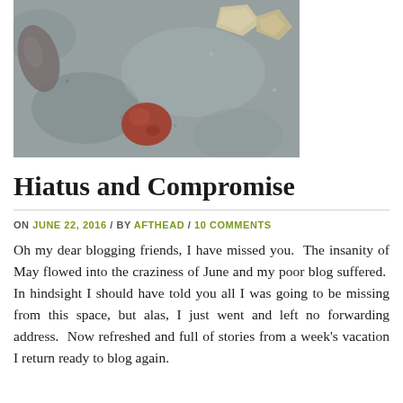[Figure (photo): Photo of small rocks and pebbles on a grey concrete or stone surface. Visible rocks include a reddish-brown rounded pebble in the center and lighter shell-like fragments.]
Hiatus and Compromise
ON JUNE 22, 2016 / BY AFTHEAD / 10 COMMENTS
Oh my dear blogging friends, I have missed you.  The insanity of May flowed into the craziness of June and my poor blog suffered.  In hindsight I should have told you all I was going to be missing from this space, but alas, I just went and left no forwarding address.  Now refreshed and full of stories from a week's vacation I return ready to blog again.